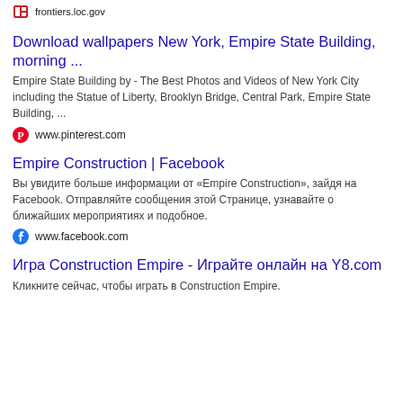frontiers.loc.gov
Download wallpapers New York, Empire State Building, morning ...
Empire State Building by - The Best Photos and Videos of New York City including the Statue of Liberty, Brooklyn Bridge, Central Park, Empire State Building, ...
www.pinterest.com
Empire Construction | Facebook
Вы увидите больше информации от «Empire Construction», зайдя на Facebook. Отправляйте сообщения этой Странице, узнавайте о ближайших мероприятиях и подобное.
www.facebook.com
Игра Construction Empire - Играйте онлайн на Y8.com
Кликните сейчас, чтобы играть в Construction Empire.